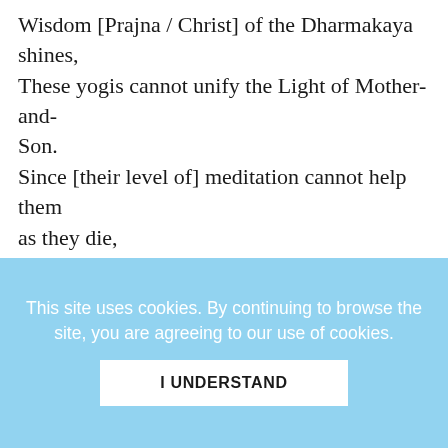Wisdom [Prajna / Christ] of the Dharmakaya shines,
These yogis cannot unify the Light of Mother-and-Son.
Since [their level of] meditation cannot help them as they die,
They are still in danger of rebirth in lower Realms.

My dear son, best of laymen, listen to me carefully!

When your body is rightly posed [asana], and your
This site uses cookies. By continuing to browse the site, you are agreeing to our use of cookies.
I UNDERSTAND